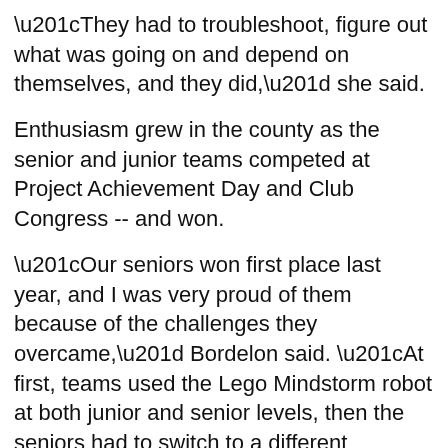“They had to troubleshoot, figure out what was going on and depend on themselves, and they did,” she said.
Enthusiasm grew in the county as the senior and junior teams competed at Project Achievement Day and Club Congress -- and won.
“Our seniors won first place last year, and I was very proud of them because of the challenges they overcame,” Bordelon said. “At first, teams used the Lego Mindstorm robot at both junior and senior levels, then the seniors had to switch to a different program and learn a new system, and then they changed the robot. None of us knew what we were doing.”
At first the team members got frustrated.
“They took the time to figure out the new robot, and when it started working, it was so rewarding to see their pride,” Bordelon said.